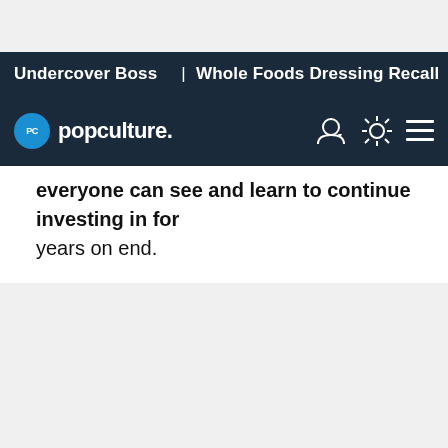Undercover Boss | Whole Foods Dressing Recall | Anastasia
[Figure (logo): Popculture.com logo with navigation icons (user, brightness, menu) on dark navy background]
everyone can see and learn to continue investing in for years on end.